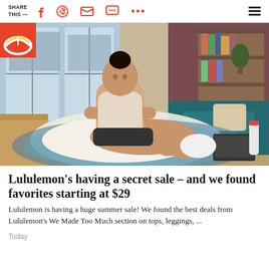SHARE THIS —
[Figure (photo): Woman in athletic wear stretching on a yoga mat in a living room, reaching forward to grab her foot. A teal sofa, bookshelf, and large windows are visible in the background. NBC rainbow logo visible in top-left corner of the image.]
Lululemon's having a secret sale – and we found favorites starting at $29
Lululemon is having a huge summer sale! We found the best deals from Lululemon's We Made Too Much section on tops, leggings, ...
Today